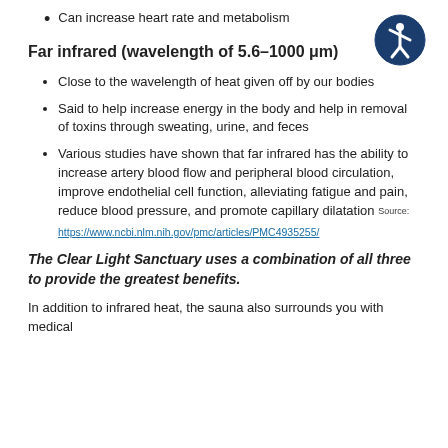Can increase heart rate and metabolism
[Figure (illustration): Accessibility icon: white stick figure person in a circle on dark blue background]
Far infrared (wavelength of 5.6–1000 μm)
Close to the wavelength of heat given off by our bodies
Said to help increase energy in the body and help in removal of toxins through sweating, urine, and feces
Various studies have shown that far infrared has the ability to increase artery blood flow and peripheral blood circulation, improve endothelial cell function, alleviating fatigue and pain, reduce blood pressure, and promote capillary dilatation Source: https://www.ncbi.nlm.nih.gov/pmc/articles/PMC4935255/
The Clear Light Sanctuary uses a combination of all three to provide the greatest benefits.
In addition to infrared heat, the sauna also surrounds you with medical